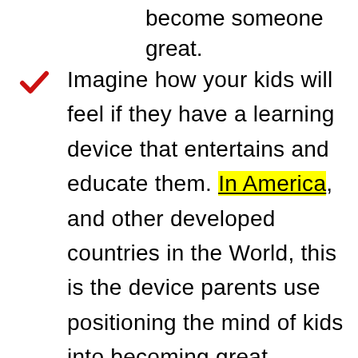become someone great.
Imagine how your kids will feel if they have a learning device that entertains and educate them. In America, and other developed countries in the World, this is the device parents use positioning the mind of kids into becoming great individuals like